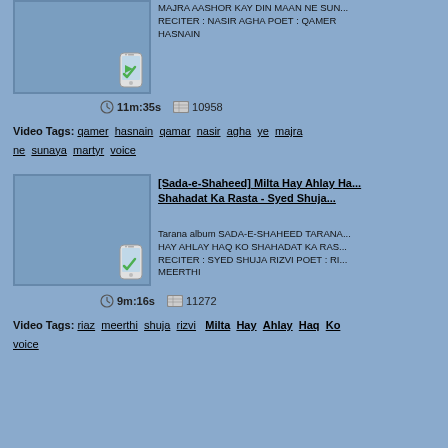[Figure (screenshot): Thumbnail with green checkmark phone icon]
MAJRA AASHOR KAY DIN MAAN NE SUN... RECITER : NASIR AGHA POET : QAMER HASNAIN
11m:35s  10958
Video Tags: qamer hasnain qamar nasir agha ye majra ne sunaya martyr voice
[Figure (screenshot): Thumbnail with green checkmark phone icon]
[Sada-e-Shaheed] Milta Hay Ahlay Ha... Shahadat Ka Rasta - Syed Shuja...
Tarana album SADA-E-SHAHEED TARANA... HAY AHLAY HAQ KO SHAHADAT KA RAS... RECITER : SYED SHUJA RIZVI POET : RI... MEERTHI
9m:16s  11272
Video Tags: riaz meerthi shuja rizvi Milta Hay Ahlay Haq Ko voice